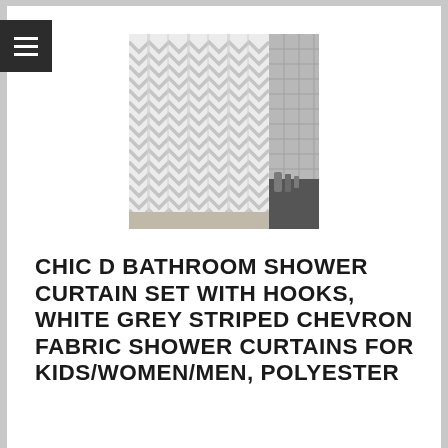[Figure (photo): Black and white photo of a bathroom with a white chevron/herringbone patterned shower curtain hanging in front of a white brick tile wall, with a dark bathtub and bathroom accessories visible.]
CHIC D BATHROOM SHOWER CURTAIN SET WITH HOOKS, WHITE GREY STRIPED CHEVRON FABRIC SHOWER CURTAINS FOR KIDS/WOMEN/MEN, POLYESTER